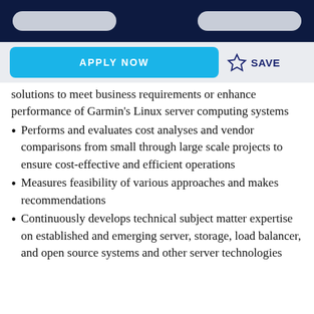[navigation bar with two pill buttons]
APPLY NOW   ☆ SAVE
solutions to meet business requirements or enhance performance of Garmin's Linux server computing systems
Performs and evaluates cost analyses and vendor comparisons from small through large scale projects to ensure cost-effective and efficient operations
Measures feasibility of various approaches and makes recommendations
Continuously develops technical subject matter expertise on established and emerging server, storage, load balancer, and open source systems and other server technologies